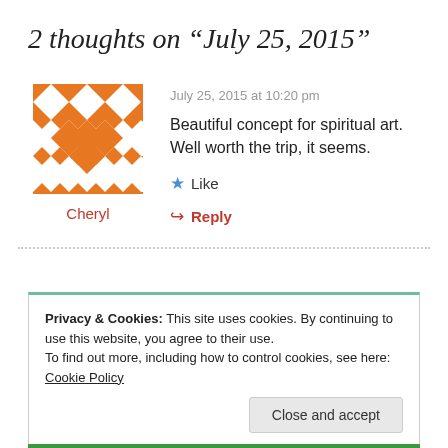2 thoughts on “July 25, 2015”
July 25, 2015 at 10:20 pm
[Figure (illustration): Orange and white geometric mosaic avatar icon for user Cheryl]
Cheryl
Beautiful concept for spiritual art. Well worth the trip, it seems.
★ Like
↪ Reply
Privacy & Cookies: This site uses cookies. By continuing to use this website, you agree to their use. To find out more, including how to control cookies, see here: Cookie Policy
Close and accept